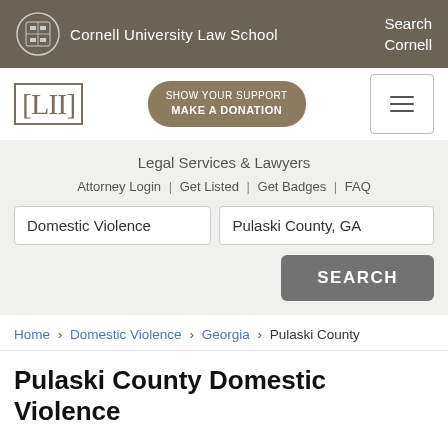Cornell University Law School | Search Cornell
[Figure (logo): LII Legal Information Institute logo and donation button navigation bar]
Legal Services & Lawyers
Attorney Login | Get Listed | Get Badges | FAQ
Search inputs: Domestic Violence | Pulaski County, GA | SEARCH button
Home › Domestic Violence › Georgia › Pulaski County
Pulaski County Domestic Violence